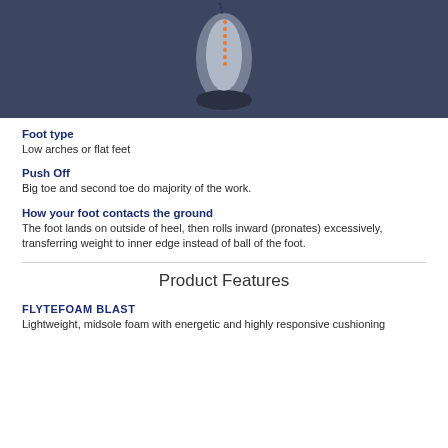[Figure (illustration): Body silhouette illustration showing spine alignment and pronation on dark navy background]
Foot type
Low arches or flat feet
Push Off
Big toe and second toe do majority of the work.
How your foot contacts the ground
The foot lands on outside of heel, then rolls inward (pronates) excessively, transferring weight to inner edge instead of ball of the foot.
Product Features
FLYTEFOAM BLAST
Lightweight, midsole foam with energetic and highly responsive cushioning